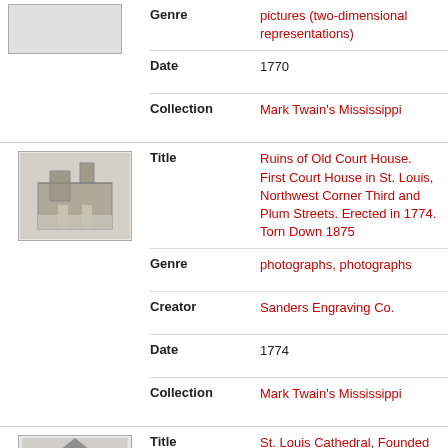[Figure (photo): Thumbnail of a historical building, partial view at top]
Genre: pictures (two-dimensional representations)
Date: 1770
Collection: Mark Twain's Mississippi
[Figure (photo): Thumbnail of Ruins of Old Court House, St. Louis]
Title: Ruins of Old Court House. First Court House in St. Louis, Northwest Corner Third and Plum Streets. Erected in 1774. Torn Down 1875
Genre: photographs, photographs
Creator: Sanders Engraving Co.
Date: 1774
Collection: Mark Twain's Mississippi
[Figure (photo): Thumbnail of St. Louis Cathedral]
Title: St. Louis Cathedral, Founded 1776
Genre: pictures (two-dimensional representations)